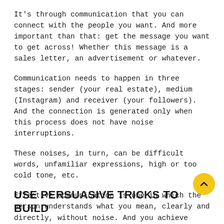It's through communication that you can connect with the people you want. And more important than that: get the message you want to get across! Whether this message is a sales letter, an advertisement or whatever.
Communication needs to happen in three stages: sender (your real estate), medium (Instagram) and receiver (your followers). And the connection is generated only when this process does not have noise interruptions.
These noises, in turn, can be difficult words, unfamiliar expressions, high or too cold tone, etc.
Effective communication is one in which the person understands what you mean, clearly and directly, without noise. And you achieve this, of course, by understanding your target audience.
USE PERSUASIVE TRICKS TO BUILD